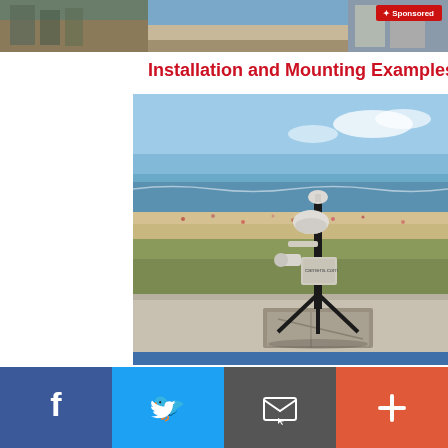[Figure (photo): Aerial/street banner photo at top of page showing a beach boardwalk scene with a sponsored badge overlay in top right corner]
Installation and Mounting Examples
[Figure (photo): Photograph of a weather/surveillance camera mounted on a black metal pole with tripod-style base plate on a rooftop, with a beach and ocean visible in the background. Equipment includes a dome camera at the top and a box unit mid-pole.]
Social sharing bar with Facebook, Twitter, Email, and Add buttons